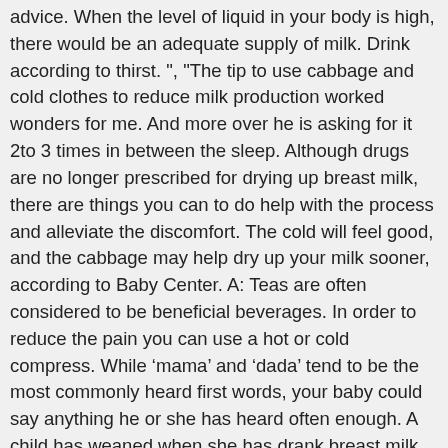advice. When the level of liquid in your body is high, there would be an adequate supply of milk. Drink according to thirst. ", "The tip to use cabbage and cold clothes to reduce milk production worked wonders for me. And more over he is asking for it 2to 3 times in between the sleep. Although drugs are no longer prescribed for drying up breast milk, there are things you can to do help with the process and alleviate the discomfort. The cold will feel good, and the cabbage may help dry up your milk sooner, according to Baby Center. A: Teas are often considered to be beneficial beverages. In order to reduce the pain you can use a hot or cold compress. While ‘mama’ and ‘dada’ tend to be the most commonly heard first words, your baby could say anything he or she has heard often enough. A child has weaned when she has drank breast milk for the very last time. We know ads can be annoying, but they’re what allow us to make all of wikiHow available for free. Breasts that are not weaned gradually, but suddenly, can become painful, engorged, and even put mothers at significant risk for developing mastitis. This will soak up the milk